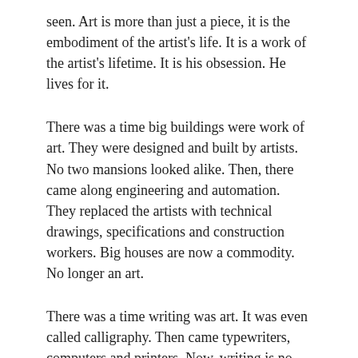seen. Art is more than just a piece, it is the embodiment of the artist's life. It is a work of the artist's lifetime. It is his obsession. He lives for it.
There was a time big buildings were work of art. They were designed and built by artists. No two mansions looked alike. Then, there came along engineering and automation. They replaced the artists with technical drawings, specifications and construction workers. Big houses are now a commodity. No longer an art.
There was a time writing was art. It was even called calligraphy. Then came typewriters, computers and printers. Now, writing is no longer an art.
Music is facing a similar threat. The advent of computer generated tunes and brain-dead